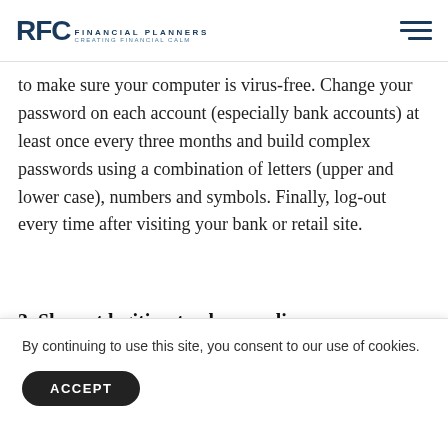RFC FINANCIAL PLANNERS
to make sure your computer is virus-free. Change your password on each account (especially bank accounts) at least once every three months and build complex passwords using a combination of letters (upper and lower case), numbers and symbols. Finally, log-out every time after visiting your bank or retail site.
3. Shop at legitimate places online.
D... in... it c...
By continuing to use this site, you consent to our use of cookies.